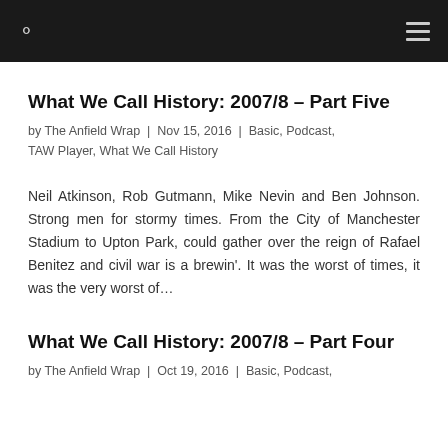Navigation bar with search icon and menu icon
What We Call History: 2007/8 – Part Five
by The Anfield Wrap | Nov 15, 2016 | Basic, Podcast, TAW Player, What We Call History
Neil Atkinson, Rob Gutmann, Mike Nevin and Ben Johnson. Strong men for stormy times. From the City of Manchester Stadium to Upton Park, could gather over the reign of Rafael Benitez and civil war is a brewin'. It was the worst of times, it was the very worst of…
What We Call History: 2007/8 – Part Four
by The Anfield Wrap | Oct 19, 2016 | Basic, Podcast,